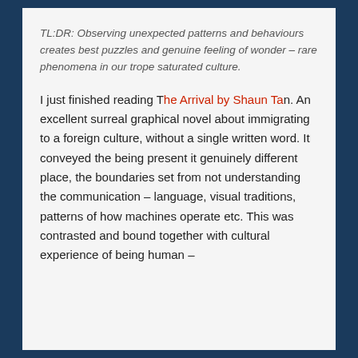TL:DR: Observing unexpected patterns and behaviours creates best puzzles and genuine feeling of wonder – rare phenomena in our trope saturated culture.
I just finished reading The Arrival by Shaun Tan. An excellent surreal graphical novel about immigrating to a foreign culture, without a single written word. It conveyed the being present it genuinely different place, the boundaries set from not understanding the communication – language, visual traditions, patterns of how machines operate etc. This was contrasted and bound together with cultural experience of being human –